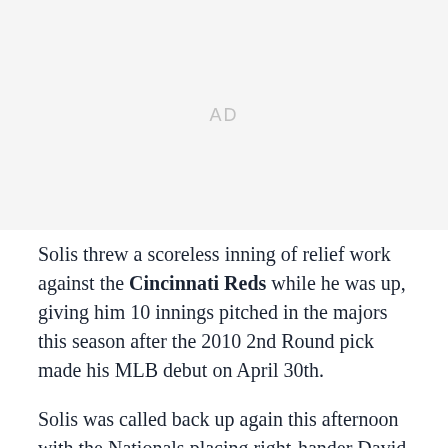[Figure (other): Advertisement placeholder area labeled AD]
Solis threw a scoreless inning of relief work against the Cincinnati Reds while he was up, giving him 10 innings pitched in the majors this season after the 2010 2nd Round pick made his MLB debut on April 30th.
Solis was called back up again this afternoon with the Nationals placing right-hander David Carpenter on the 15-Day DL retroactive to July 12th with right shoulder